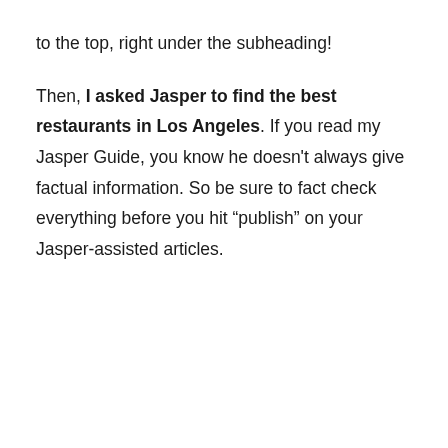to the top, right under the subheading!
Then, I asked Jasper to find the best restaurants in Los Angeles. If you read my Jasper Guide, you know he doesn't always give factual information. So be sure to fact check everything before you hit “publish” on your Jasper-assisted articles.